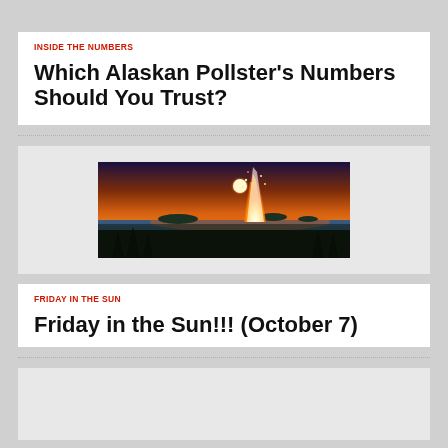INSIDE THE NUMBERS
Which Alaskan Pollster's Numbers Should You Trust?
[Figure (photo): Outdoor sunset scene with a large bonfire or burning tree in the foreground, a lake and islands in the background under an orange and purple sky.]
FRIDAY IN THE SUN
Friday in the Sun!!! (October 7)